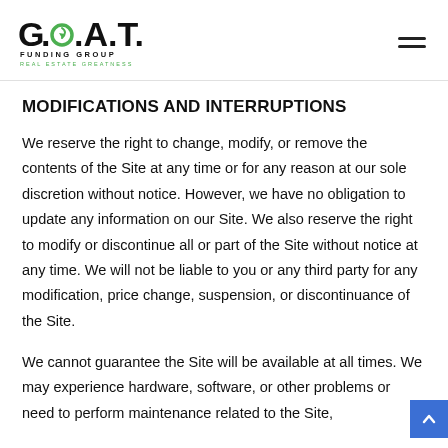G.O.A.T. FUNDING GROUP REAL ESTATE GREATNESS
MODIFICATIONS AND INTERRUPTIONS
We reserve the right to change, modify, or remove the contents of the Site at any time or for any reason at our sole discretion without notice. However, we have no obligation to update any information on our Site. We also reserve the right to modify or discontinue all or part of the Site without notice at any time. We will not be liable to you or any third party for any modification, price change, suspension, or discontinuance of the Site.
We cannot guarantee the Site will be available at all times. We may experience hardware, software, or other problems or need to perform maintenance related to the Site,